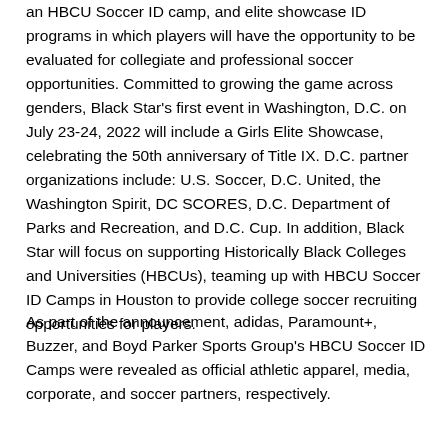an HBCU Soccer ID camp, and elite showcase ID programs in which players will have the opportunity to be evaluated for collegiate and professional soccer opportunities. Committed to growing the game across genders, Black Star's first event in Washington, D.C. on July 23-24, 2022 will include a Girls Elite Showcase, celebrating the 50th anniversary of Title IX. D.C. partner organizations include: U.S. Soccer, D.C. United, the Washington Spirit, DC SCORES, D.C. Department of Parks and Recreation, and D.C. Cup. In addition, Black Star will focus on supporting Historically Black Colleges and Universities (HBCUs), teaming up with HBCU Soccer ID Camps in Houston to provide college soccer recruiting opportunities for players.
As part of the announcement, adidas, Paramount+, Buzzer, and Boyd Parker Sports Group's HBCU Soccer ID Camps were revealed as official athletic apparel, media, corporate, and soccer partners, respectively.